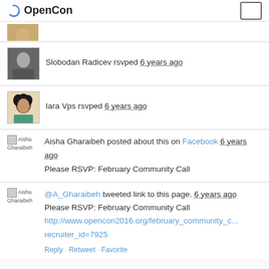OpenCon
[Figure (photo): Partially visible profile photo (cropped) of a person wearing a yellow/olive top]
Slobodan Radicev rsvped 6 years ago
Iara Vps rsvped 6 years ago
Aisha Gharaibeh posted about this on Facebook 6 years ago
Please RSVP: February Community Call
@A_Gharaibeh tweeted link to this page. 6 years ago
Please RSVP: February Community Call
http://www.opencon2016.org/february_community_c... recruiter_id=7925
Reply · Retweet · Favorite
Aisha Gharaibeh rsvped 6 years ago